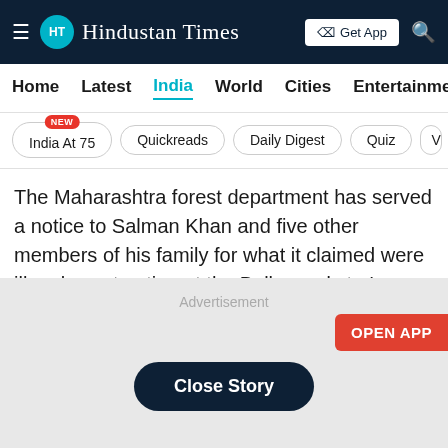HT Hindustan Times | Get App
Home | Latest | India | World | Cities | Entertainment
India At 75 NEW | Quickreads | Daily Digest | Quiz | V
The Maharashtra forest department has served a notice to Salman Khan and five other members of his family for what it claimed were illegal construction at the Bollywood star’s farmhouse at Panvel.
[Figure (other): Advertisement area with Close Story button and OPEN APP button]